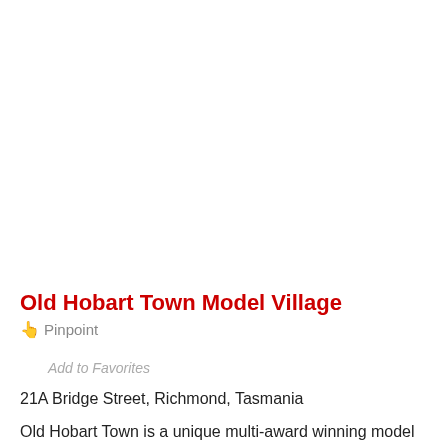Old Hobart Town Model Village
👆 Pinpoint
Add to Favorites
21A Bridge Street, Richmond, Tasmania
Old Hobart Town is a unique multi-award winning model village depicting life in colonial Hobart. Individually